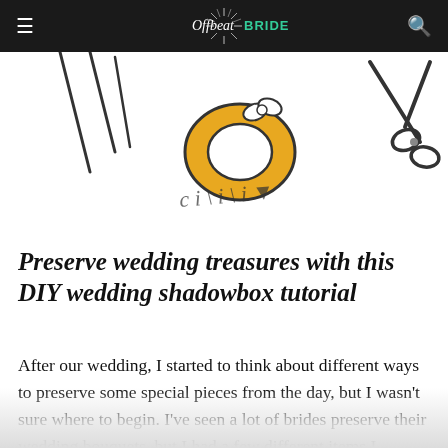Offbeat BRIDE
[Figure (illustration): Hand-drawn illustration showing craft/DIY items including scissors, thread/ribbon, and a ring or round object, partially cropped at the top of the page]
Preserve wedding treasures with this DIY wedding shadowbox tutorial
After our wedding, I started to think about different ways to preserve some special pieces from the day, but I wasn't sure where to begin. I've seen a lot of brides preserve their wedding bouquets, but I had a few different items I wanted to save together. After a little bit of thinking it hit me: a shadowbox would be perfect! Here's how I made mine.